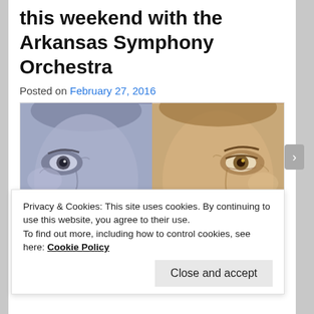this weekend with the Arkansas Symphony Orchestra
Posted on February 27, 2016
[Figure (photo): Split close-up portrait showing the eyes and upper face of two individuals side by side. Left half is tinted blue/purple; right half is tinted warm golden/brown.]
Privacy & Cookies: This site uses cookies. By continuing to use this website, you agree to their use.
To find out more, including how to control cookies, see here: Cookie Policy
Close and accept